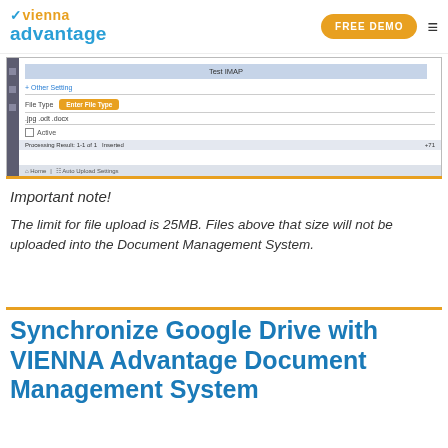vienna advantage | FREE DEMO
[Figure (screenshot): Screenshot of a document management settings panel showing Test IMAP button, Other Setting section, File Type field with Enter File Type button, .jpg .odt .docx extensions, Active checkbox, and Processing Result bar.]
Important note!
The limit for file upload is 25MB. Files above that size will not be uploaded into the Document Management System.
Synchronize Google Drive with VIENNA Advantage Document Management System